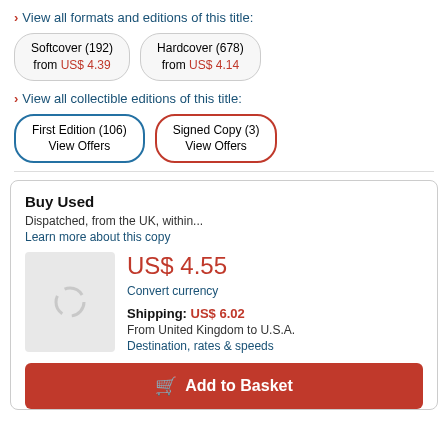View all formats and editions of this title:
Softcover (192) from US$ 4.39
Hardcover (678) from US$ 4.14
View all collectible editions of this title:
First Edition (106) View Offers
Signed Copy (3) View Offers
Buy Used
Dispatched, from the UK, within...
Learn more about this copy
US$ 4.55
Convert currency
Shipping: US$ 6.02
From United Kingdom to U.S.A.
Destination, rates & speeds
Add to Basket